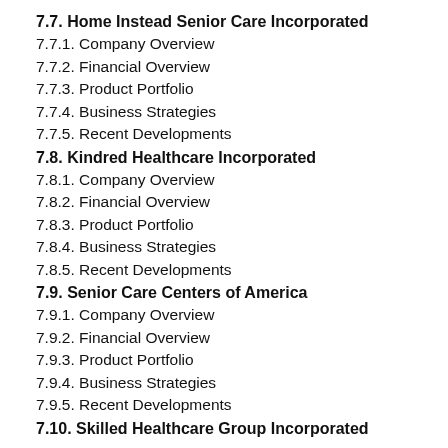7.7. Home Instead Senior Care Incorporated
7.7.1. Company Overview
7.7.2. Financial Overview
7.7.3. Product Portfolio
7.7.4. Business Strategies
7.7.5. Recent Developments
7.8. Kindred Healthcare Incorporated
7.8.1. Company Overview
7.8.2. Financial Overview
7.8.3. Product Portfolio
7.8.4. Business Strategies
7.8.5. Recent Developments
7.9. Senior Care Centers of America
7.9.1. Company Overview
7.9.2. Financial Overview
7.9.3. Product Portfolio
7.9.4. Business Strategies
7.9.5. Recent Developments
7.10. Skilled Healthcare Group Incorporated